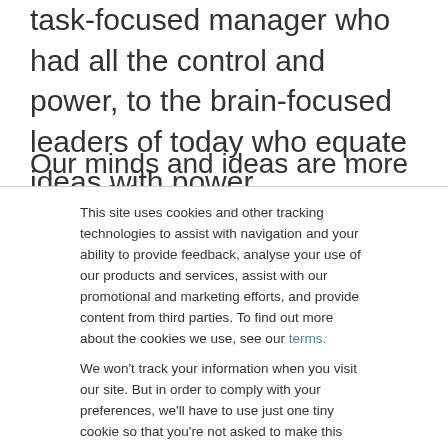task-focused manager who had all the control and power, to the brain-focused leaders of today who equate ideas with power.
Our minds and ideas are more powerful
This site uses cookies and other tracking technologies to assist with navigation and your ability to provide feedback, analyse your use of our products and services, assist with our promotional and marketing efforts, and provide content from third parties. To find out more about the cookies we use, see our terms.
We won't track your information when you visit our site. But in order to comply with your preferences, we'll have to use just one tiny cookie so that you're not asked to make this choice again.